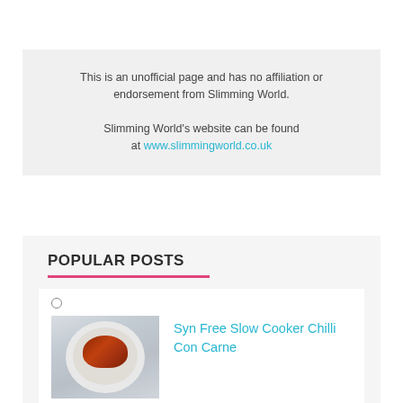This is an unofficial page and has no affiliation or endorsement from Slimming World.

Slimming World's website can be found at www.slimmingworld.co.uk
POPULAR POSTS
[Figure (photo): Photo of chilli con carne served over white rice on a plate]
Syn Free Slow Cooker Chilli Con Carne